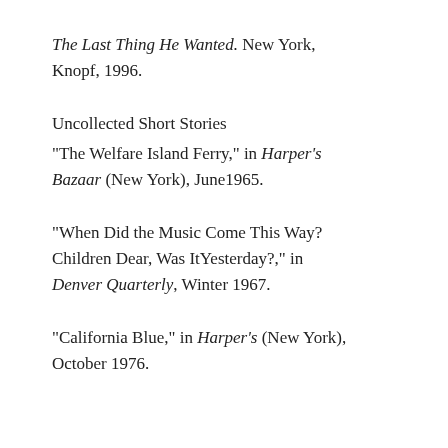The Last Thing He Wanted. New York, Knopf, 1996.
Uncollected Short Stories
"The Welfare Island Ferry," in Harper's Bazaar (New York), June1965.
"When Did the Music Come This Way? Children Dear, Was ItYesterday?," in Denver Quarterly, Winter 1967.
"California Blue," in Harper's (New York), October 1976.